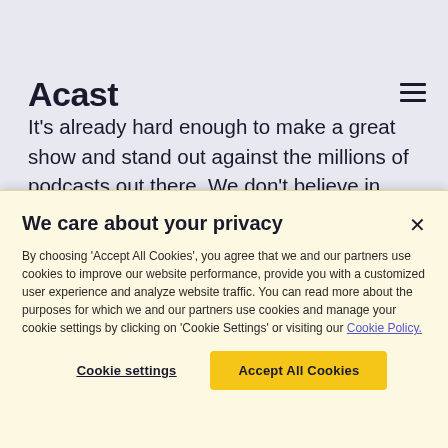Acast
It’s already hard enough to make a great show and stand out against the millions of podcasts out there. We don’t believe in making that even harder by placing a financial burden on new podcasters.
We care about your privacy
By choosing ‘Accept All Cookies’, you agree that we and our partners use cookies to improve our website performance, provide you with a customized user experience and analyze website traffic. You can read more about the purposes for which we and our partners use cookies and manage your cookie settings by clicking on ‘Cookie Settings’ or visiting our Cookie Policy.
Cookie settings
Accept All Cookies